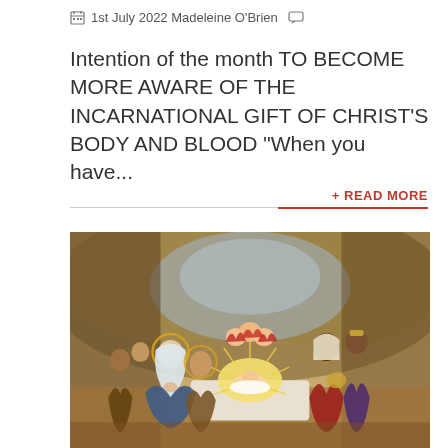1st July 2022 Madeleine O'Brien
Intention of the month TO BECOME MORE AWARE OF THE INCARNATIONAL GIFT OF CHRIST'S BODY AND BLOOD "When you have...
+ READ MORE
[Figure (illustration): A religious painting depicting the Nativity scene. Mary and Joseph with halos are shown kneeling over the infant Jesus, who lies on an altar radiating golden light. Angels with red wings hover above. The Magi and other figures are visible on the right side. The background shows rocky cave-like structures in muted gold and blue tones. The overall palette is warm browns, golds, and reds.]